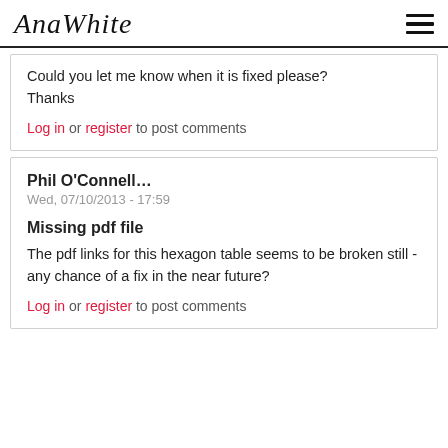AnaWhite
Could you let me know when it is fixed please? Thanks
Log in or register to post comments
Phil O'Connell…
Wed, 07/10/2013 - 17:59
Missing pdf file
The pdf links for this hexagon table seems to be broken still - any chance of a fix in the near future?
Log in or register to post comments